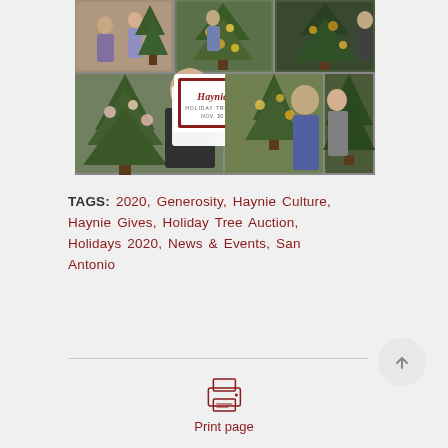[Figure (photo): Photo collage of people decorating Christmas trees with a central 'Haynie Gives Holiday Tree Auction Nov. 30 - Dec. 4' logo overlay]
TAGS: 2020, Generosity, Haynie Culture, Haynie Gives, Holiday Tree Auction, Holidays 2020, News & Events, San Antonio
[Figure (illustration): Print page icon (printer SVG icon)]
Print page